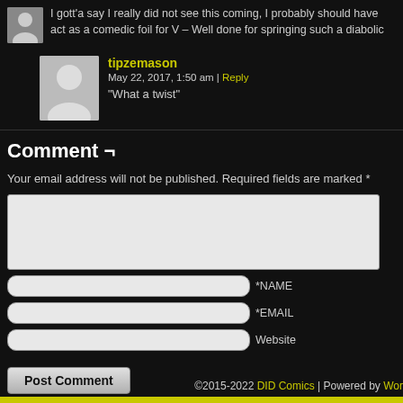I gott'a say I really did not see this coming, I probably should have act as a comedic foil for V – Well done for springing such a diabolic
tipzemason
May 22, 2017, 1:50 am | Reply
“What a twist”
Comment ¬
Your email address will not be published. Required fields are marked *
*NAME
*EMAIL
Website
Post Comment
©2015-2022 DID Comics | Powered by WordPress